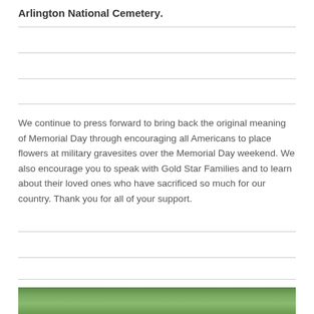Arlington National Cemetery.
We continue to press forward to bring back the original meaning of Memorial Day through encouraging all Americans to place flowers at military gravesites over the Memorial Day weekend. We also encourage you to speak with Gold Star Families and to learn about their loved ones who have sacrificed so much for our country. Thank you for all of your support.
[Figure (photo): Close-up photo of green grass, likely at a cemetery or outdoor setting]